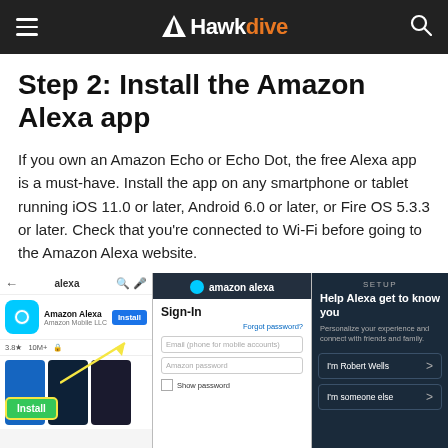HawkDive
Step 2: Install the Amazon Alexa app
If you own an Amazon Echo or Echo Dot, the free Alexa app is a must-have. Install the app on any smartphone or tablet running iOS 11.0 or later, Android 6.0 or later, or Fire OS 5.3.3 or later. Check that you're connected to Wi-Fi before going to the Amazon Alexa website.
[Figure (screenshot): Three-panel screenshot showing: (1) Google Play Store search for 'alexa' with the Amazon Alexa app listing and an Install button highlighted, (2) Amazon Alexa Sign-In screen, (3) Alexa Setup screen saying 'Help Alexa get to know you' with options 'I'm Robert Wells' and 'I'm someone else']